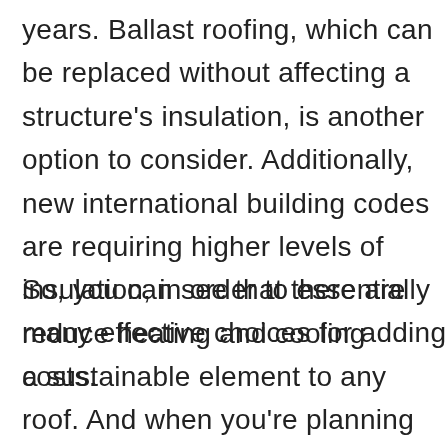years. Ballast roofing, which can be replaced without affecting a structure's insulation, is another option to consider. Additionally, new international building codes are requiring higher levels of insulation, in order to essentially reduce heating and cooling costs.
So, you can see that there are many effective choices for adding a sustainable element to any roof. And when you're planning your next roofing project, Knickerbocker Roofing is ready